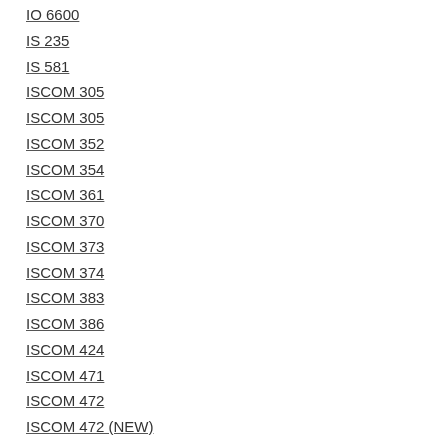IO 6600
IS 235
IS 581
ISCOM 305
ISCOM 305
ISCOM 352
ISCOM 354
ISCOM 361
ISCOM 370
ISCOM 373
ISCOM 374
ISCOM 383
ISCOM 386
ISCOM 424
ISCOM 471
ISCOM 472
ISCOM 472 (NEW)
ISCOM 473